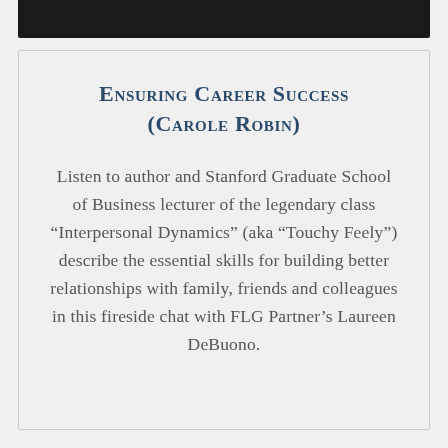Ensuring Career Success (Carole Robin)
Listen to author and Stanford Graduate School of Business lecturer of the legendary class “Interpersonal Dynamics” (aka “Touchy Feely”) describe the essential skills for building better relationships with family, friends and colleagues in this fireside chat with FLG Partner’s Laureen DeBuono.